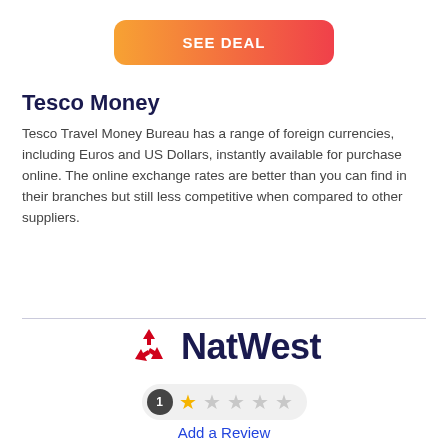[Figure (other): SEE DEAL button with orange-to-pink gradient]
Tesco Money
Tesco Travel Money Bureau has a range of foreign currencies, including Euros and US Dollars, instantly available for purchase online. The online exchange rates are better than you can find in their branches but still less competitive when compared to other suppliers.
[Figure (logo): NatWest logo with red pinwheel icon and dark navy NatWest text]
[Figure (other): Star rating pill showing 1 review and 1 out of 5 stars filled]
Add a Review